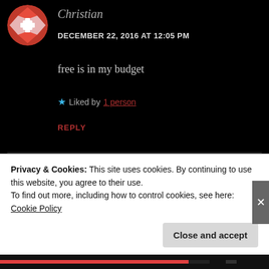[Figure (illustration): Red and white circular avatar icon for user Christian]
Christian
DECEMBER 22, 2016 AT 12:05 PM
free is in my budget
★ Liked by 1 person
REPLY
[Figure (illustration): Yellow-green circular avatar icon for user Travis titus]
Travis titus
Privacy & Cookies: This site uses cookies. By continuing to use this website, you agree to their use.
To find out more, including how to control cookies, see here: Cookie Policy
Close and accept